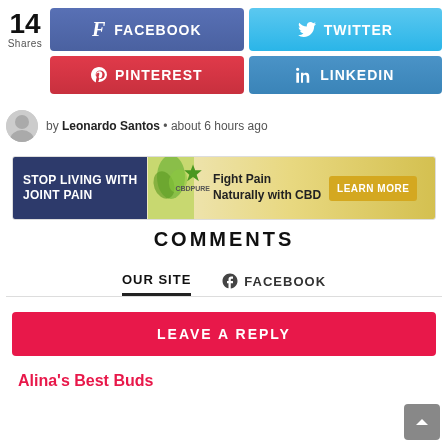14 Shares
[Figure (screenshot): Social share buttons: Facebook (blue), Twitter (light blue), Pinterest (red), LinkedIn (blue)]
by Leonardo Santos • about 6 hours ago
[Figure (infographic): Advertisement banner: STOP LIVING WITH JOINT PAIN | Fight Pain Naturally with CBD | LEARN MORE]
COMMENTS
OUR SITE   FACEBOOK
LEAVE A REPLY
Alina's Best Buds